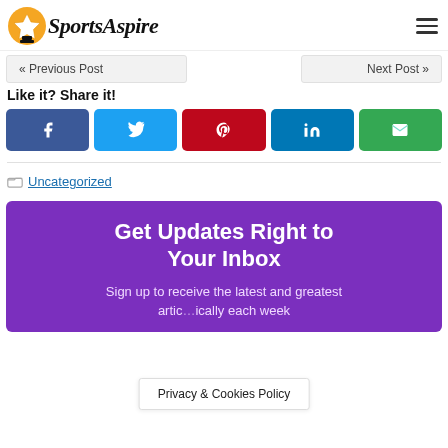SportsAspire
« Previous Post   Next Post »
Like it? Share it!
[Figure (infographic): Five social share buttons: Facebook (dark blue, f icon), Twitter (light blue, bird icon), Pinterest (red, p icon), LinkedIn (blue, in icon), Email (green, envelope icon)]
Uncategorized
Get Updates Right to Your Inbox
Sign up to receive the latest and greatest articles automatically each week
Privacy & Cookies Policy